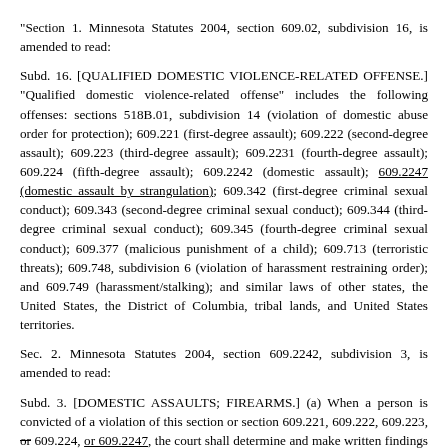"Section 1. Minnesota Statutes 2004, section 609.02, subdivision 16, is amended to read:
Subd. 16. [QUALIFIED DOMESTIC VIOLENCE-RELATED OFFENSE.] "Qualified domestic violence-related offense" includes the following offenses: sections 518B.01, subdivision 14 (violation of domestic abuse order for protection); 609.221 (first-degree assault); 609.222 (second-degree assault); 609.223 (third-degree assault); 609.2231 (fourth-degree assault); 609.224 (fifth-degree assault); 609.2242 (domestic assault); 609.2247 (domestic assault by strangulation); 609.342 (first-degree criminal sexual conduct); 609.343 (second-degree criminal sexual conduct); 609.344 (third-degree criminal sexual conduct); 609.345 (fourth-degree criminal sexual conduct); 609.377 (malicious punishment of a child); 609.713 (terroristic threats); 609.748, subdivision 6 (violation of harassment restraining order); and 609.749 (harassment/stalking); and similar laws of other states, the United States, the District of Columbia, tribal lands, and United States territories.
Sec. 2. Minnesota Statutes 2004, section 609.2242, subdivision 3, is amended to read:
Subd. 3. [DOMESTIC ASSAULTS; FIREARMS.] (a) When a person is convicted of a violation of this section or section 609.221, 609.222, 609.223, or 609.224, or 609.2247, the court shall determine and make written findings on the record as to whether:
(1) the assault was committed against a family or household member, as defined in section 518B.01, subdivision 2;